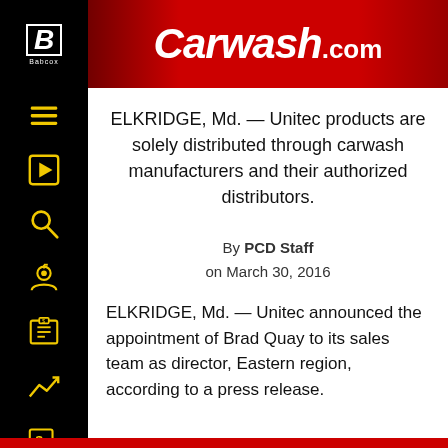Carwash.com | Babcox
ELKRIDGE, Md. — Unitec products are solely distributed through carwash manufacturers and their authorized distributors.
By PCD Staff
on March 30, 2016
ELKRIDGE, Md. — Unitec announced the appointment of Brad Quay to its sales team as director, Eastern region, according to a press release.